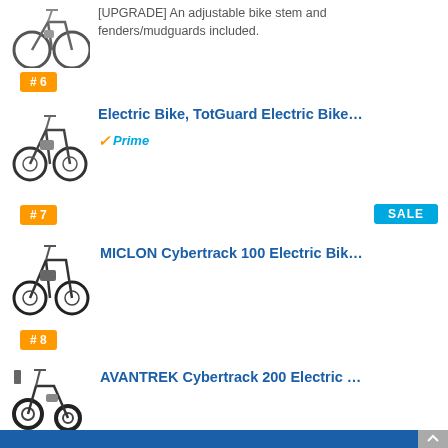[UPGRADE] An adjustable bike stem and fenders/mudguards included.
# 6
[Figure (photo): Electric bike product photo - black mountain e-bike side view]
Electric Bike, TotGuard Electric Bike…
Prime
# 7
SALE
[Figure (photo): Electric mountain bike product photo - black e-bike side view]
MICLON Cybertrack 100 Electric Bik…
# 8
[Figure (photo): Folding fat tire electric bike product photo - AVANTREK Cybertrack 200]
AVANTREK Cybertrack 200 Electric …